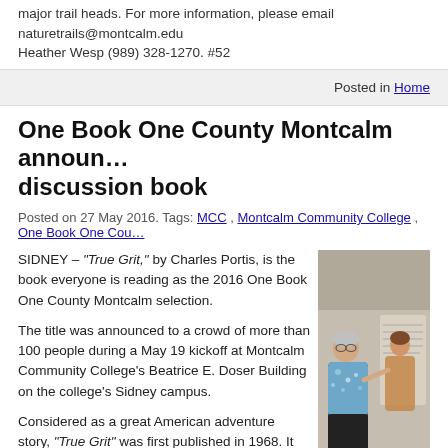major trail heads. For more information, please email naturetrails@montcalm.edu Heather Wesp (989) 328-1270. #52
Posted in Home
One Book One County Montcalm announces discussion book
Posted on 27 May 2016. Tags: MCC, Montcalm Community College, One Book One County
SIDNEY – "True Grit," by Charles Portis, is the book everyone is reading as the 2016 One Book One County Montcalm selection.
The title was announced to a crowd of more than 100 people during a May 19 kickoff at Montcalm Community College's Beatrice E. Doser Building on the college's Sidney campus.
Considered as a great American adventure story, "True Grit" was first published in 1968. It tells the story of Mattie Ross, who is just 14, when a scoundrel named Tom Chaney murders her father in Fort Smith, Ark. Mattie leaves home to avenge her father's death. With the one-eyed Rooster Cogburn, the U.S. Marshal with the most
[Figure (photo): Two women at an event at Montcalm Community College's Beatrice E. Doser Building. One woman with short gray hair is standing at left wearing a floral blue top and dark pants. Another woman stands behind/right of her.]